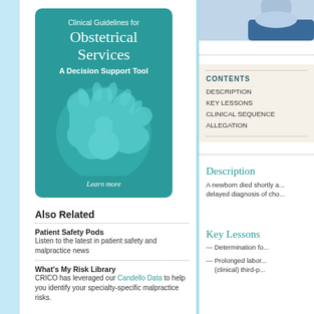[Figure (illustration): Book cover for Clinical Guidelines for Obstetrical Services: A Decision Support Tool, teal background with stylized baby illustration and 'Learn more' text]
Also Related
Patient Safety Pods
Listen to the latest in patient safety and malpractice news
What's My Risk Library
CRICO has leveraged our Candello Data to help you identify your specialty-specific malpractice risks.
[Figure (photo): Partial photo of a person in blue clothing at top right]
CONTENTS
DESCRIPTION
KEY LESSONS
CLINICAL SEQUENCE
ALLEGATION
Description
A newborn died shortly a... delayed diagnosis of cho...
Key Lessons
Determination fo...
Prolonged labor... (clinical) third-p...